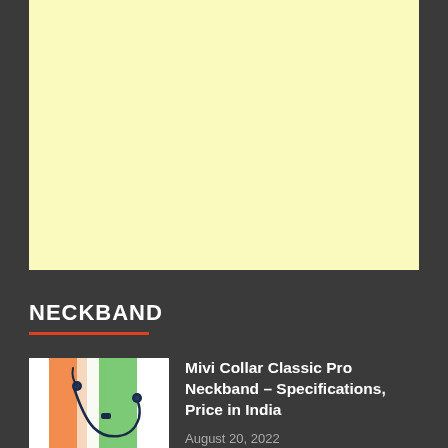[Figure (other): Light yellow advertisement banner placeholder]
NECKBAND
[Figure (photo): Mivi Collar Classic Pro Neckband product image with orange, white and green gradient background]
Mivi Collar Classic Pro Neckband – Specifications, Price in India
August 20, 2022